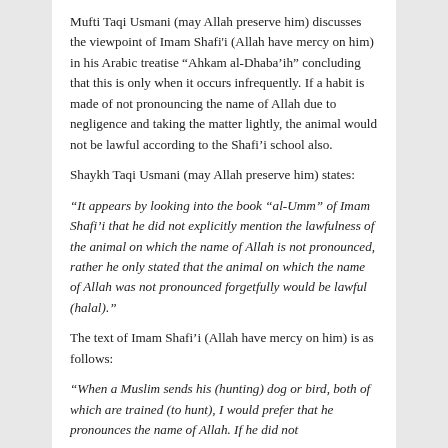Mufti Taqi Usmani (may Allah preserve him) discusses the viewpoint of Imam Shafi'i (Allah have mercy on him) in his Arabic treatise “Ahkam al-Dhaba’ih” concluding that this is only when it occurs infrequently. If a habit is made of not pronouncing the name of Allah due to negligence and taking the matter lightly, the animal would not be lawful according to the Shafi’i school also.
Shaykh Taqi Usmani (may Allah preserve him) states:
“It appears by looking into the book “al-Umm” of Imam Shafi’i that he did not explicitly mention the lawfulness of the animal on which the name of Allah is not pronounced, rather he only stated that the animal on which the name of Allah was not pronounced forgetfully would be lawful (halal).”
The text of Imam Shafi’i (Allah have mercy on him) is as follows:
“When a Muslim sends his (hunting) dog or bird, both of which are trained (to hunt), I would prefer that he pronounces the name of Allah. If he did not...